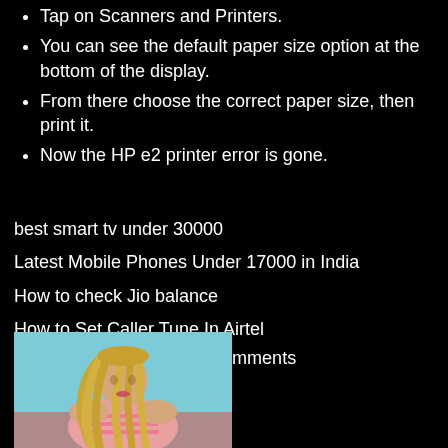Tap on Scanners and Printers.
You can see the default paper size option at the bottom of the display.
From there choose the correct paper size, then print it.
Now the HP e2 printer error is gone.
best smart tv under 30000
Latest Mobile Phones Under 17000 in India
How to check Jio balance
How to Set Caller Tune In Airtel
Log in or register to post comments
[Figure (photo): A woman with long blonde wavy hair wearing a pink striped outfit, photographed against a light blue background, shown from behind/side angle.]